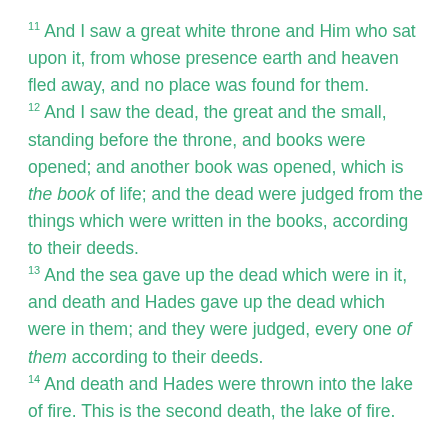11 And I saw a great white throne and Him who sat upon it, from whose presence earth and heaven fled away, and no place was found for them. 12 And I saw the dead, the great and the small, standing before the throne, and books were opened; and another book was opened, which is the book of life; and the dead were judged from the things which were written in the books, according to their deeds. 13 And the sea gave up the dead which were in it, and death and Hades gave up the dead which were in them; and they were judged, every one of them according to their deeds. 14 And death and Hades were thrown into the lake of fire. This is the second death, the lake of fire.